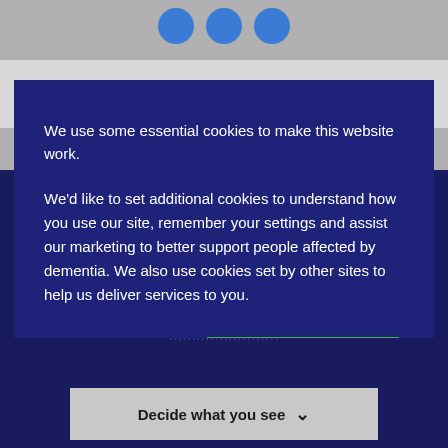[Figure (screenshot): Social media icon buttons (circles) at top of page]
< Previous    Next >
We use some essential cookies to make this website work.
We'd like to set additional cookies to understand how you use our site, remember your settings and assist our marketing to better support people affected by dementia. We also use cookies set by other sites to help us deliver services to you.
Manage Cookies
Accept All Cookies
Decide what you see  ∨